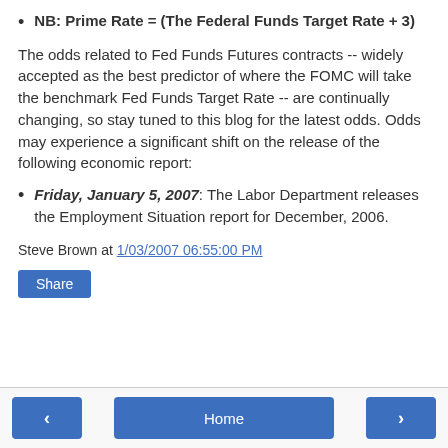NB: Prime Rate = (The Federal Funds Target Rate + 3)
The odds related to Fed Funds Futures contracts -- widely accepted as the best predictor of where the FOMC will take the benchmark Fed Funds Target Rate -- are continually changing, so stay tuned to this blog for the latest odds. Odds may experience a significant shift on the release of the following economic report:
Friday, January 5, 2007: The Labor Department releases the Employment Situation report for December, 2006.
Steve Brown at 1/03/2007 06:55:00 PM
Share
< Home >